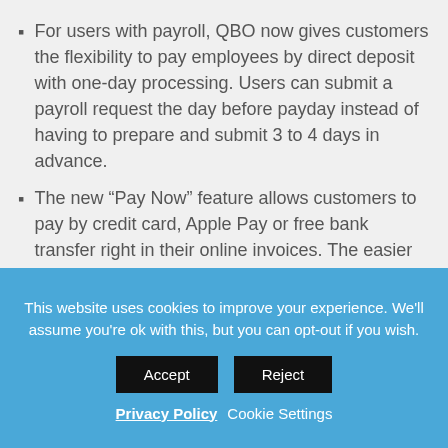For users with payroll, QBO now gives customers the flexibility to pay employees by direct deposit with one-day processing. Users can submit a payroll request the day before payday instead of having to prepare and submit 3 to 4 days in advance.
The new “Pay Now” feature allows customers to pay by credit card, Apple Pay or free bank transfer right in their online invoices. The easier you make it for customers to pay, the more likely they will pay on time. Additionally, you receive instant alerts when customers view and pay invoices. The funds go directly to your bank. Payments and invoices are automatically
This website uses cookies to improve your experience. We’ll assume you’re ok with this, but you can opt-out if you wish.
Accept   Reject
Privacy Policy   Cookie Settings